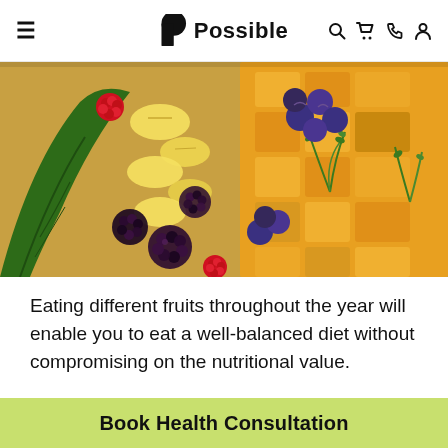≡  Possible  🔍 🛒 📞 👤
[Figure (photo): Close-up overhead photo of assorted fresh fruits including blackberries, blueberries, raspberries, banana slices, mango cubes, and green herb sprigs arranged together]
Eating different fruits throughout the year will enable you to eat a well-balanced diet without compromising on the nutritional value.
So, the next time you go to your local market, fill your cart with seasonal fruits. They are great for your health,
Book Health Consultation